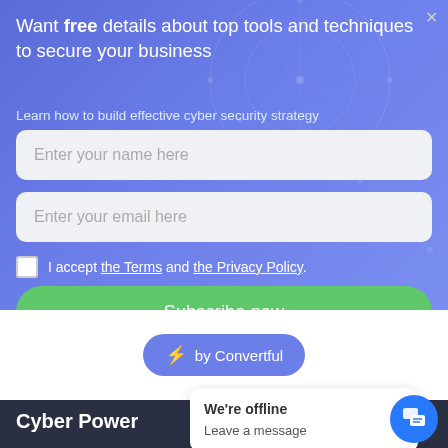Want free details about top tools and techniques to secure your business
Learn how to build effective cyber security strategy
Enter your name here
Enter your email here
I accept the Terms and the Privacy Policy.
Subscribe now
⚡ by Convertful
Cyber Power
We're offline
Leave a message